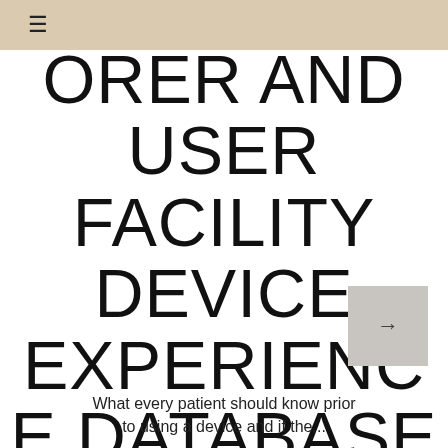≡
ORER AND USER FACILITY DEVICE EXPERIENCE DATABASE
What every patient should know prior to using a device and if the...